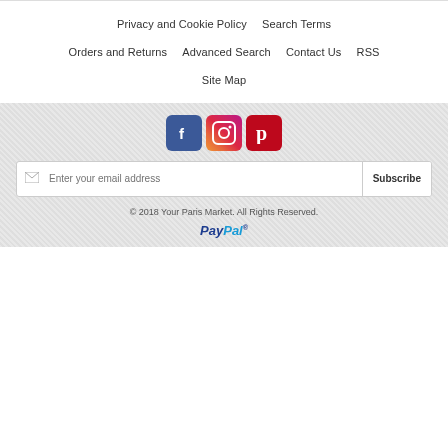Privacy and Cookie Policy   Search Terms
Orders and Returns   Advanced Search   Contact Us   RSS
Site Map
[Figure (illustration): Social media icons: Facebook (blue), Instagram (colorful camera), Pinterest (red)]
Enter your email address   Subscribe
© 2018 Your Paris Market. All Rights Reserved.
[Figure (logo): PayPal logo in blue italic text]